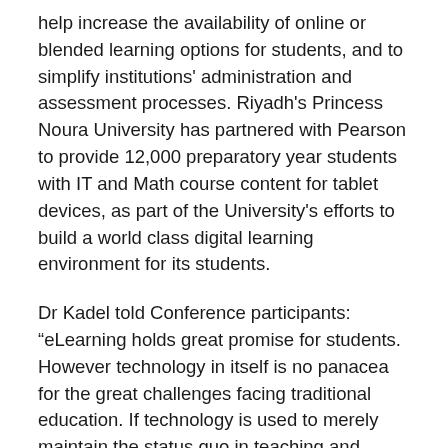help increase the availability of online or blended learning options for students, and to simplify institutions' administration and assessment processes. Riyadh's Princess Noura University has partnered with Pearson to provide 12,000 preparatory year students with IT and Math course content for tablet devices, as part of the University's efforts to build a world class digital learning environment for its students.
Dr Kadel told Conference participants: “eLearning holds great promise for students. However technology in itself is no panacea for the great challenges facing traditional education. If technology is used to merely maintain the status quo in teaching and learning, then we will see no great leaps forward in the education race. Technological solutions must be assessed according to the impact they have on improving learning outcomes, and learners’ lives. Although millions of learners, in all parts of the world,